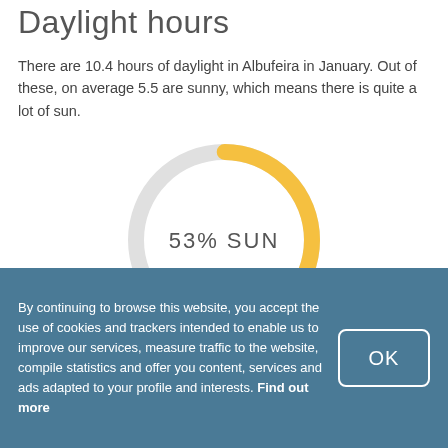Daylight hours
There are 10.4 hours of daylight in Albufeira in January. Out of these, on average 5.5 are sunny, which means there is quite a lot of sun.
[Figure (donut-chart): 53% SUN]
By continuing to browse this website, you accept the use of cookies and trackers intended to enable us to improve our services, measure traffic to the website, compile statistics and offer you content, services and ads adapted to your profile and interests. Find out more